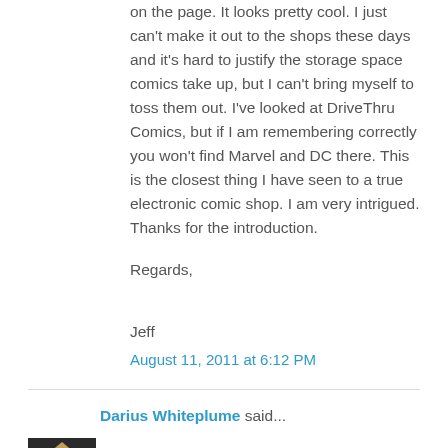on the page. It looks pretty cool. I just can't make it out to the shops these days and it's hard to justify the storage space comics take up, but I can't bring myself to toss them out. I've looked at DriveThru Comics, but if I am remembering correctly you won't find Marvel and DC there. This is the closest thing I have seen to a true electronic comic shop. I am very intrigued. Thanks for the introduction.
Regards,
Jeff
August 11, 2011 at 6:12 PM
Darius Whiteplume said...
Hi Jeff,
I am not completely sure how they handle Marvel. They provide the Marvel application, but not sure how much Marvel they offer directly. Oddly, when I tried logging